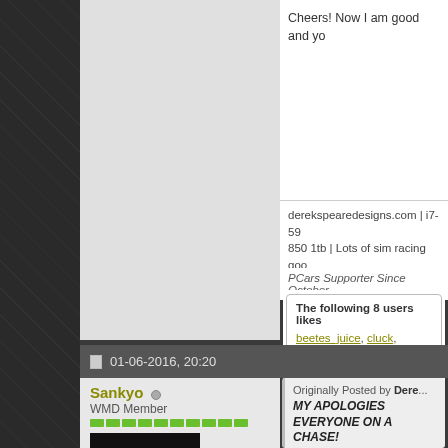Cheers! Now I am good and yo
derekspearedesigns.com | i7-59... 850 1tb | Lots of sim racing goo... | DSD FTW!
PCars Supporter Since October
The following 8 users likes beetes_juice, cluck, crowtro... Sankyo
01-06-2016, 20:20
Sankyo
WMD Member
Originally Posted by Dere... MY APOLOGIES EVERYONE ON A CHASE!